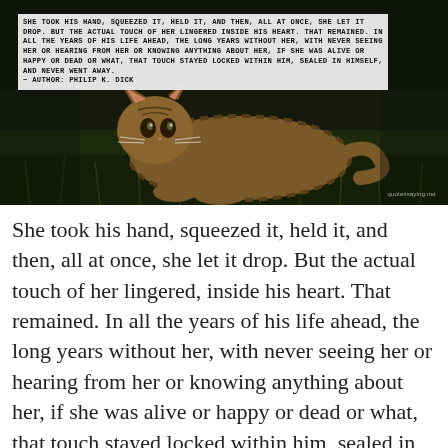[Figure (photo): A tabby kitten lying on green grass in a dark, moody photograph. Overlaid on the upper portion is white-background text showing a Philip K. Dick quote in bold monospace uppercase letters.]
She took his hand, squeezed it, held it, and then, all at once, she let it drop. But the actual touch of her lingered, inside his heart. That remained. In all the years of his life ahead, the long years without her, with never seeing her or hearing from her or knowing anything about her, if she was alive or happy or dead or what, that touch stayed locked within him, sealed in himself, and never went away. — Philip K. Dick